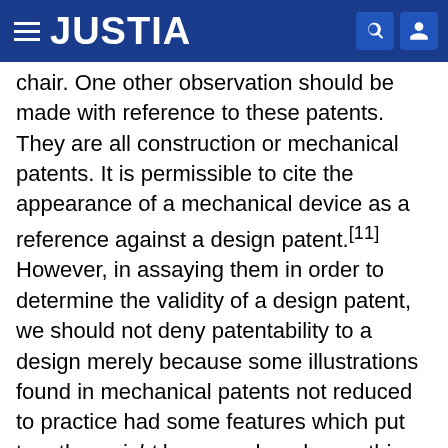JUSTIA
chair. One other observation should be made with reference to these patents. They are all construction or mechanical patents. It is permissible to cite the appearance of a mechanical device as a reference against a design patent.[11] However, in assaying them in order to determine the validity of a design patent, we should not deny patentability to a design merely because some illustrations found in mechanical patents not reduced to practice had some features which put together might have produced something similar to the design under consideration. The warning in this respect was sounded by the United States Court of Customs and Patent Appeals in these words:
"In considering patentability of a proposed design the appearance of the design must be